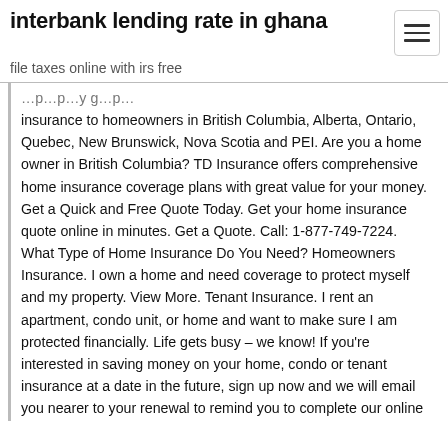interbank lending rate in ghana
file taxes online with irs free
insurance to homeowners in British Columbia, Alberta, Ontario, Quebec, New Brunswick, Nova Scotia and PEI. Are you a home owner in British Columbia? TD Insurance offers comprehensive home insurance coverage plans with great value for your money. Get a Quick and Free Quote Today. Get your home insurance quote online in minutes. Get a Quote. Call: 1-877-749-7224. What Type of Home Insurance Do You Need? Homeowners Insurance. I own a home and need coverage to protect myself and my property. View More. Tenant Insurance. I rent an apartment, condo unit, or home and want to make sure I am protected financially. Life gets busy – we know! If you're interested in saving money on your home, condo or tenant insurance at a date in the future, sign up now and we will email you nearer to your renewal to remind you to complete our online comparison tool for a quote. It only takes 10 minutes and will give you some SWEET insurance quotes. 5 Reasons to get a Home Insurance Quote in British Columbia. Find out if you are